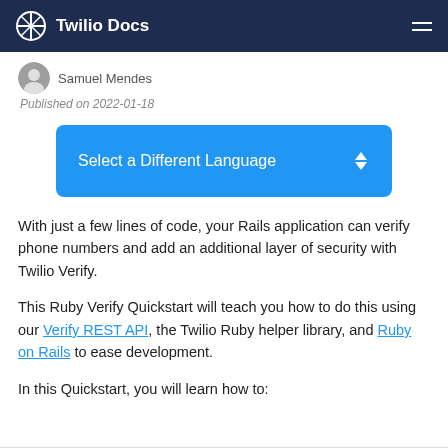Twilio Docs
Samuel Mendes
Published on 2022-01-18
[Figure (other): Blue dropdown button labeled 'Select a Different Language' with up/down arrow icon]
With just a few lines of code, your Rails application can verify phone numbers and add an additional layer of security with Twilio Verify.
This Ruby Verify Quickstart will teach you how to do this using our Verify REST API, the Twilio Ruby helper library, and Ruby on Rails to ease development.
In this Quickstart, you will learn how to: